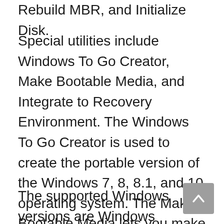Rebuild MBR, and Initialize Disk.
Special utilities include Windows To Go Creator, Make Bootable Media, and Integrate to Recovery Environment. The Windows To Go Creator is used to create the portable version of the Windows 7, 8, 8.1, and 10 operating system. The Make Bootable Media lets you make bootable WinPE disks. Another interesting tool is the Integrate to Recovery Environment, which lets you integrate the AOMEI Partition Assistant and AOMEI Backupper into the recovery environment of the currently running operating system.
The supported Windows versions are Windows 10, 8.1, 8, 7, Vista, XP, and 2000.